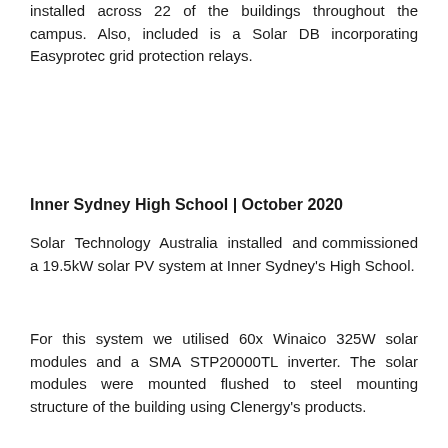installed across 22 of the buildings throughout the campus. Also, included is a Solar DB incorporating Easyprotec grid protection relays.
Inner Sydney High School | October 2020
Solar Technology Australia installed and commissioned a 19.5kW solar PV system at Inner Sydney's High School.
For this system we utilised 60x Winaico 325W solar modules and a SMA STP20000TL inverter. The solar modules were mounted flushed to steel mounting structure of the building using Clenergy's products.